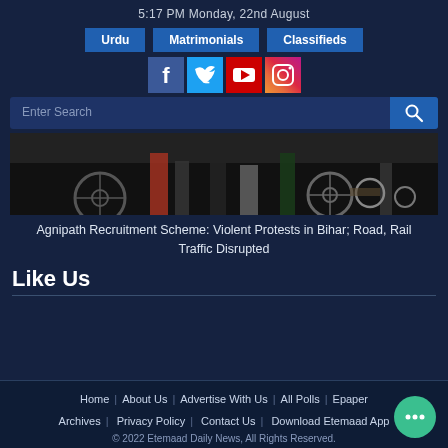5:17 PM Monday, 22nd August
Urdu | Matrimonials | Classifieds
[Figure (other): Social media icons: Facebook, Twitter, YouTube, Instagram]
[Figure (screenshot): News photograph showing bicycles and people's legs at a protest]
Agnipath Recruitment Scheme: Violent Protests in Bihar; Road, Rail Traffic Disrupted
Like Us
Home | About Us | Advertise With Us | All Polls | Epaper | Archives | Privacy Policy | Contact Us | Download Etemaad App
© 2022 Etemaad Daily News, All Rights Reserved.